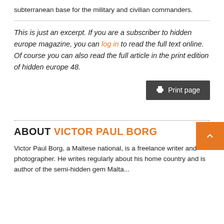subterranean base for the military and civilian commanders.
This is just an excerpt. If you are a subscriber to hidden europe magazine, you can log in to read the full text online. Of course you can also read the full article in the print edition of hidden europe 48.
Print page
ABOUT VICTOR PAUL BORG
Victor Paul Borg, a Maltese national, is a freelance writer and photographer. He writes regularly about his home country and is author of the semi-hidden gem Malta...